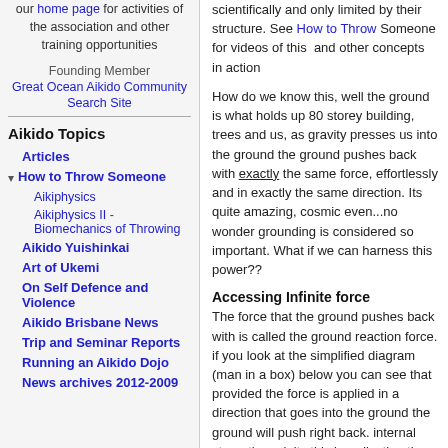our home page for activities of the association and other training opportunities
Founding Member Great Ocean Aikido Community Search Site
Aikido Topics
Articles
▾ How to Throw Someone
Aikiphysics
Aikiphysics II - Biomechanics of Throwing
Aikido Yuishinkai
Art of Ukemi
On Self Defence and Violence
Aikido Brisbane News
Trip and Seminar Reports
Running an Aikido Dojo
News archives 2012-2009
scientifically and only limited by their structure. See How to Throw Someone for videos of this and other concepts in action
How do we know this, well the ground is what holds up 80 storey building, trees and us, as gravity presses us into the ground the ground pushes back with exactly the same force, effortlessly and in exactly the same direction. Its quite amazing, cosmic even...no wonder grounding is considered so important. What if we can harness this power??
Accessing Infinite force
The force that the ground pushes back with is called the ground reaction force. if you look at the simplified diagram (man in a box) below you can see that provided the force is applied in a direction that goes into the ground the ground will push right back. internal strength exploits this by adjusting the direction of